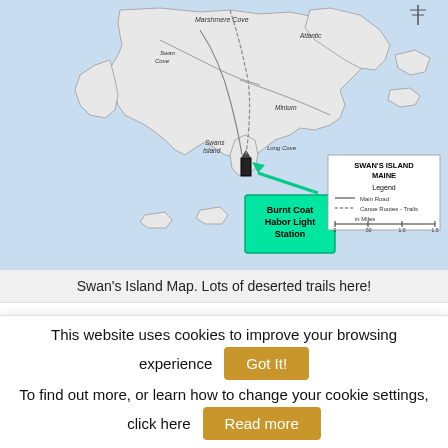[Figure (map): Swan's Island, Maine map showing Burnt Coat Harbor Light Station marked with a teal box and arrow pointing to a lighthouse icon on the southern tip of the island. Legend in lower right shows Swan's Island Maine with Main Road and Canoe Routes/Trails keys.]
Swan's Island Map. Lots of deserted trails here!
Burnt Coat Harbor Light Station guards the tip of Swans Island, a sleepy little community that's ~40
This website uses cookies to improve your browsing experience  Got It!  To find out more, or learn how to change your cookie settings, click here  Read more